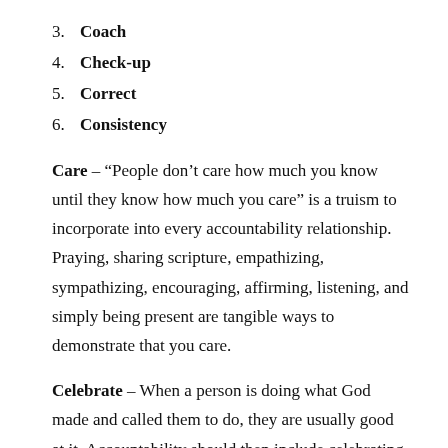3. Coach
4. Check-up
5. Correct
6. Consistency
Care – “People don’t care how much you know until they know how much you care” is a truism to incorporate into every accountability relationship. Praying, sharing scripture, empathizing, sympathizing, encouraging, affirming, listening, and simply being present are tangible ways to demonstrate that you care.
Celebrate – When a person is doing what God made and called them to do, they are usually good at it. Accountability should then include celebrating,